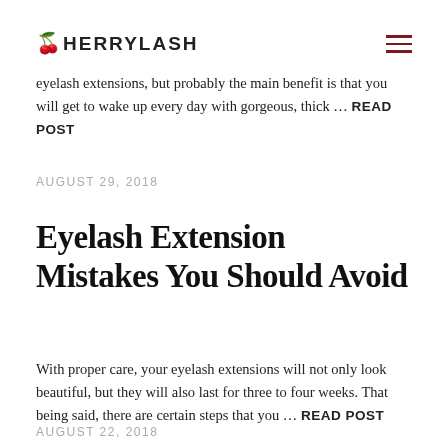CHERRYLASH
eyelash extensions, but probably the main benefit is that you will get to wake up every day with gorgeous, thick … READ POST
AUGUST 29, 2018
Eyelash Extension Mistakes You Should Avoid
With proper care, your eyelash extensions will not only look beautiful, but they will also last for three to four weeks. That being said, there are certain steps that you … READ POST
AUGUST 22, 2018